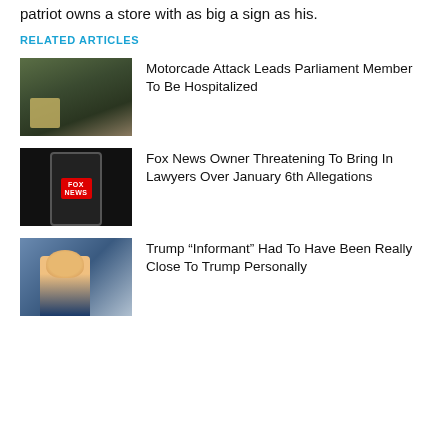patriot owns a store with as big a sign as his.
RELATED ARTICLES
[Figure (photo): People outdoors near a motorcade, dark clothing, yellow bollard]
Motorcade Attack Leads Parliament Member To Be Hospitalized
[Figure (photo): Hand holding phone with Fox News logo on dark background]
Fox News Owner Threatening To Bring In Lawyers Over January 6th Allegations
[Figure (photo): Trump speaking at rally, red cap, blue background]
Trump “Informant” Had To Have Been Really Close To Trump Personally